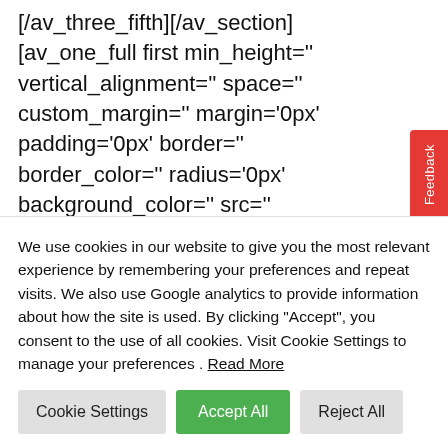[/av_three_fifth][/av_section]
[av_one_full first min_height=" vertical_alignment=" space=" custom_margin=" margin='0px' padding='0px' border=" border_color=" radius='0px' background_color=" src=" background_position='top left'
We use cookies in our website to give you the most relevant experience by remembering your preferences and repeat visits. We also use Google analytics to provide information about how the site is used. By clicking "Accept", you consent to the use of all cookies. Visit Cookie Settings to manage your preferences . Read More
Cookie Settings
Accept All
Reject All